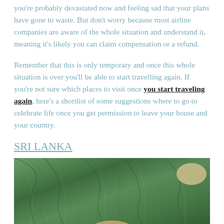you're probably devastated now and feeling sad that your plans have gone to waste. But don't worry because most airline companies are aware of the whole situation and understand it, meaning it's likely you can claim compensation or a refund.
Remember that this is only temporary and once this whole situation is over you'll be able to start travelling again. If you're not sure which places to visit once you start traveling again, here's a shortlist of some suggestions where to go to celebrate life once you get permission to leave your house and your country.
SRI LANKA
[Figure (photo): Aerial view of a lush green coastline or forest area in Sri Lanka, showing dense green vegetation with sandy patches visible, likely a beach or coastal area viewed from above.]